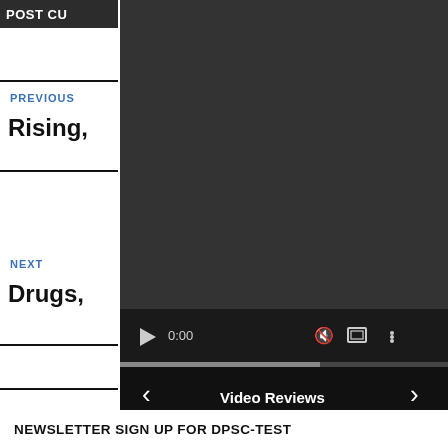POST CU
PREVIOUS
Rising,
NEXT
Drugs,
[Figure (screenshot): Embedded video player showing dark background with playback controls: play button, time 0:00, mute icon, fullscreen icon, more options icon, and a progress bar. Below is a navigation bar with left/right arrows and 'Video Reviews' label.]
NEWSLETTER SIGN UP FOR DPSC-TEST